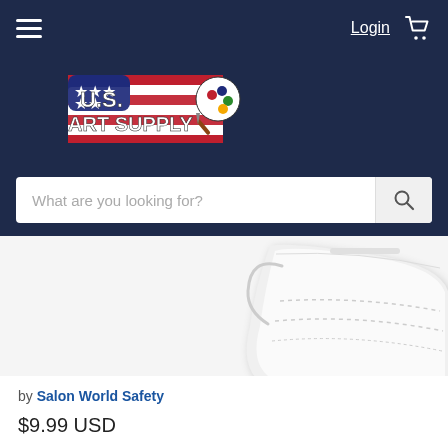Login
[Figure (logo): U.S. Art Supply logo with American flag design and art palette]
What are you looking for?
[Figure (photo): KN95 protective mask product main image, white background]
[Figure (photo): Thumbnail strip of 6 product images: mask package, product info sheet, masks stacked, woman wearing mask, packaging with child, lifestyle collage]
by Salon World Safety
$9.99 USD